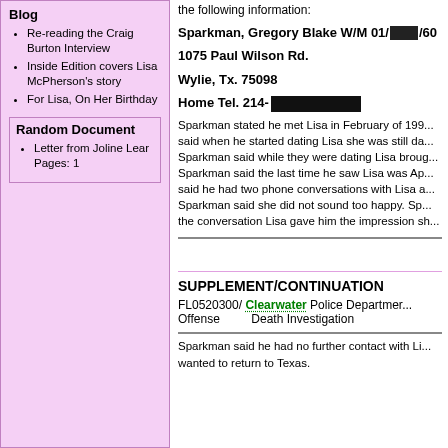Blog
Re-reading the Craig Burton Interview
Inside Edition covers Lisa McPherson's story
For Lisa, On Her Birthday
Random Document
Letter from Joline Lear
Pages: 1
the following information:
Sparkman, Gregory Blake W/M 01/[REDACTED]/60
1075 Paul Wilson Rd.
Wylie, Tx. 75098
Home Tel. 214-[REDACTED]
Sparkman stated he met Lisa in February of 199... said when he started dating Lisa she was still da... Sparkman said while they were dating Lisa broug... Sparkman said the last time he saw Lisa was Ap... said he had two phone conversations with Lisa a... Sparkman said she did not sound too happy. Sp... the conversation Lisa gave him the impression sh...
SUPPLEMENT/CONTINUATION
FL0520300/ Clearwater Police Departmen...
Offense     Death Investigation
Sparkman said he had no further contact with Li... wanted to return to Texas.